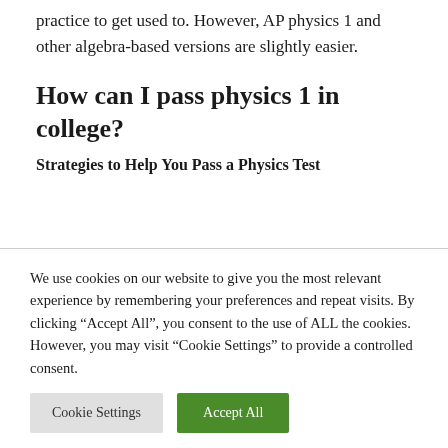practice to get used to. However, AP physics 1 and other algebra-based versions are slightly easier.
How can I pass physics 1 in college?
Strategies to Help You Pass a Physics Test
We use cookies on our website to give you the most relevant experience by remembering your preferences and repeat visits. By clicking “Accept All”, you consent to the use of ALL the cookies. However, you may visit “Cookie Settings” to provide a controlled consent.